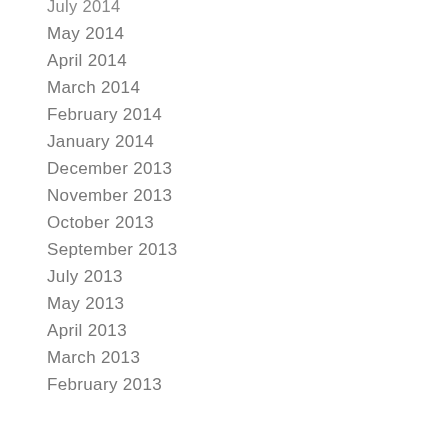July 2014
May 2014
April 2014
March 2014
February 2014
January 2014
December 2013
November 2013
October 2013
September 2013
July 2013
May 2013
April 2013
March 2013
February 2013